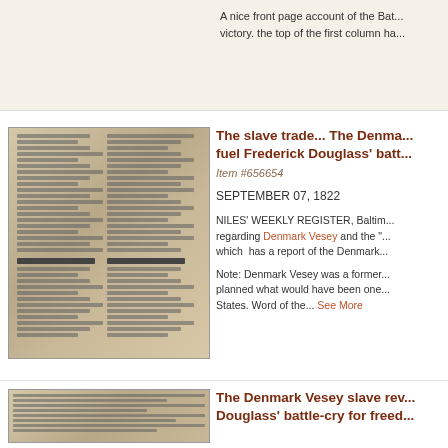A nice front page account of the Battle... victory. the top of the first column ha...
[Figure (photo): Scanned newspaper page showing two columns of dense text with headline 'Servile Conspiracy in S. Carolina']
The slave trade... The Denmark... fuel Frederick Douglass' battle...
Item #656654
SEPTEMBER 07, 1822
NILES' WEEKLY REGISTER, Baltimore... regarding Denmark Vesey and the "..." which has a report of the Denmark...
Note: Denmark Vesey was a former... planned what would have been one... States. Word of the... See More
[Figure (photo): Scanned newspaper page with dense text columns]
The Denmark Vesey slave rev... Douglass' battle-cry for freed...